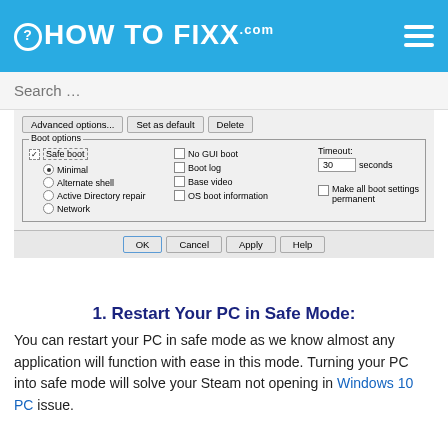HOW TO FIXX.com
[Figure (screenshot): Windows System Configuration dialog showing Boot options with Safe boot checked (Minimal selected), No GUI boot, Boot log, Base video, OS boot information checkboxes, Timeout 30 seconds, and Make all boot settings permanent option. Buttons: Advanced options..., Set as default, Delete. Footer: OK, Cancel, Apply, Help.]
1. Restart Your PC in Safe Mode:
You can restart your PC in safe mode as we know almost any application will function with ease in this mode. Turning your PC into safe mode will solve your Steam not opening in Windows 10 PC issue.